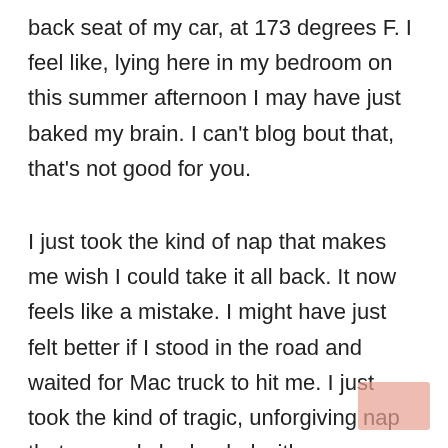back seat of my car, at 173 degrees F. I feel like, lying here in my bedroom on this summer afternoon I may have just baked my brain. I can't blog bout that, that's not good for you.
I just took the kind of nap that makes me wish I could take it all back. It now feels like a mistake. I might have just felt better if I stood in the road and waited for Mac truck to hit me. I just took the kind of tragic, unforgiving nap that can only be healed with creamy coffee and buttermilk pie with warm blackberry sauce.